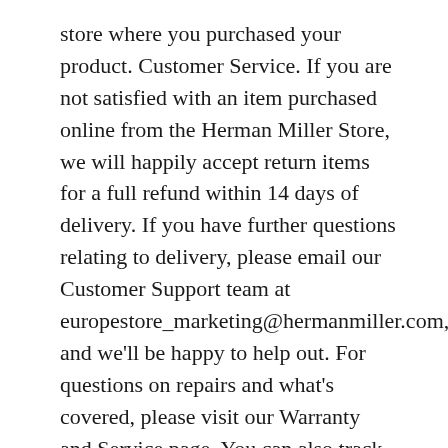store where you purchased your product. Customer Service. If you are not satisfied with an item purchased online from the Herman Miller Store, we will happily accept return items for a full refund within 14 days of delivery. If you have further questions relating to delivery, please email our Customer Support team at europestore_marketing@hermanmiller.com, and we'll be happy to help out. For questions on repairs and what's covered, please visit our Warranty and Service page. You can also track your order status by clicking the Order Status link located at the top right corner of any page on our site. We've been talking about design for over 100 years. We stand behind our products with a comprehensive warranty. New Herman Miller Customer Service jobs added daily. In this case, only the Flo Dual Monitor Support and the Flute Personal Light are included in your order total for calculating shipping, since the Aeron Chairs qualify for free shipping. worst customer